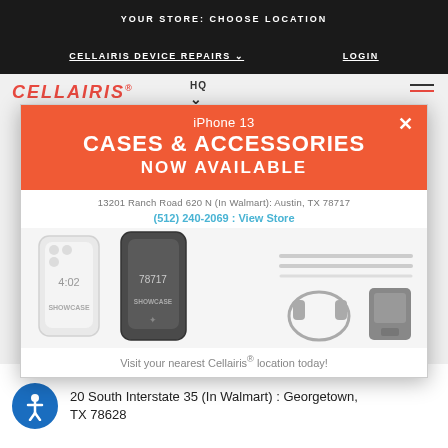YOUR STORE: CHOOSE LOCATION
CELLAIRIS DEVICE REPAIRS ∨   LOGIN
[Figure (screenshot): Cellairis website screenshot showing a modal popup for iPhone 13 Cases & Accessories Now Available, with product images of phone cases and accessories, address 13201 Ranch Road 620 N (In Walmart): Austin, TX 78717, phone (512) 240-2069, and a Visit your nearest Cellairis location today message. Below the modal shows address: 20 South Interstate 35 (In Walmart): Georgetown, TX 78628]
iPhone 13
CASES & ACCESSORIES
NOW AVAILABLE
13201 Ranch Road 620 N (In Walmart): Austin, TX 78717
(512) 240-2069 : View Store
Visit your nearest Cellairis® location today!
20 South Interstate 35 (In Walmart) : Georgetown, TX 78628